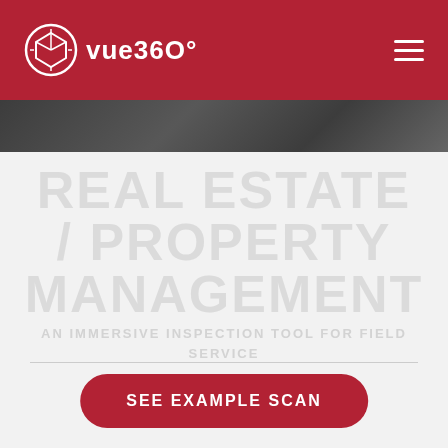[Figure (logo): Vue360 logo with circular icon and text 'vue360' on red navigation bar with hamburger menu]
[Figure (photo): Dark architectural/structural image strip below header]
REAL ESTATE / PROPERTY MANAGEMENT
AN IMMERSIVE INSPECTION TOOL FOR FIELD SERVICE
SEE EXAMPLE SCAN